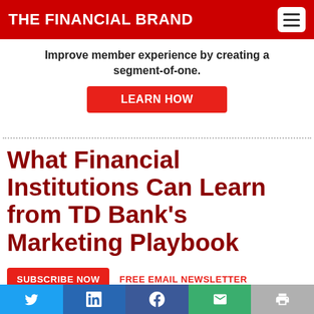THE FINANCIAL BRAND
Improve member experience by creating a segment-of-one.
LEARN HOW
What Financial Institutions Can Learn from TD Bank's Marketing Playbook
SUBSCRIBE NOW   FREE EMAIL NEWSLETTER
Can a large bank connect emotionally with